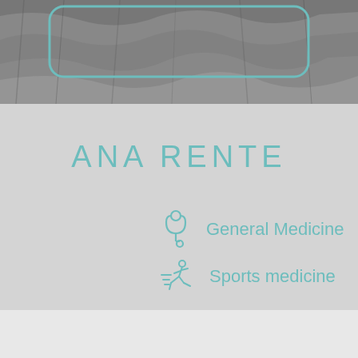[Figure (photo): Black and white photo of a person with hair visible, with a teal rounded rectangle outline overlay in the upper portion]
ANA RENTE
General Medicine
Sports medicine